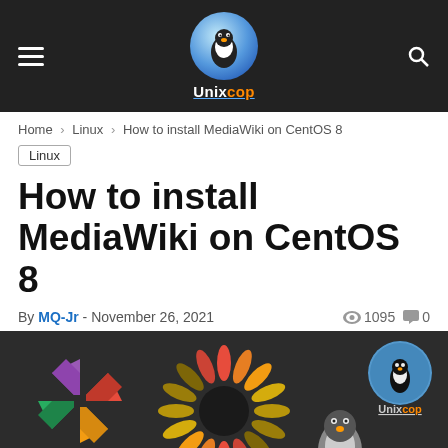Unixcop
Home > Linux > How to install MediaWiki on CentOS 8
Linux
How to install MediaWiki on CentOS 8
By MQ-Jr - November 26, 2021   1095   0
[Figure (illustration): Feature image showing CentOS logo, MediaWiki sunflower logo, and Unixcop logo with Linux Tux penguin on dark background. Text 'MediaWiki' visible at bottom center.]